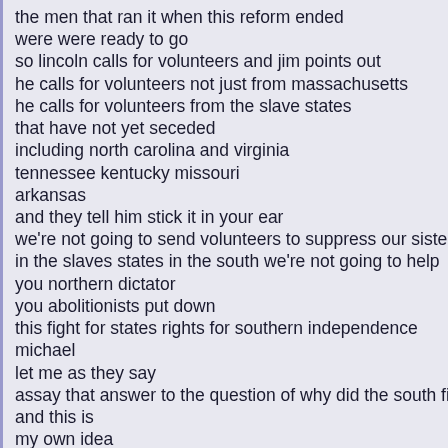the men that ran it when this reform ended
were were ready to go
so lincoln calls for volunteers and jim points out
he calls for volunteers not just from massachusetts
he calls for volunteers from the slave states
that have not yet seceded
including north carolina and virginia
tennessee kentucky missouri
arkansas
and they tell him stick it in your ear
we're not going to send volunteers to suppress our sisters
in the slaves states in the south we're not going to help
you northern dictator
you abolitionists put down
this fight for states rights for southern independence
michael
let me as they say
assay that answer to the question of why did the south fire on
and this is
my own idea
I appreciate you commenting on it one way